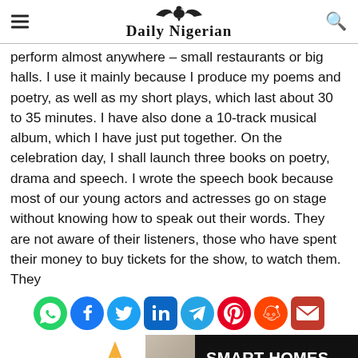Daily Nigerian
perform almost anywhere – small restaurants or big halls. I use it mainly because I produce my poems and poetry, as well as my short plays, which last about 30 to 35 minutes. I have also done a 10-track musical album, which I have just put together. On the celebration day, I shall launch three books on poetry, drama and speech. I wrote the speech book because most of our young actors and actresses go on stage without knowing how to speak out their words. They are not aware of their listeners, those who have spent their money to buy tickets for the show, to watch them. They
[Figure (infographic): Social media sharing icons: WhatsApp, Facebook, Twitter, LinkedIn, Telegram, Pinterest, Reddit, Email]
[Figure (infographic): Cosgrove Real Estate advertisement: Smart Homes. Prime Investments. Features Cosgrove logo, building photo, and tagline on dark background.]